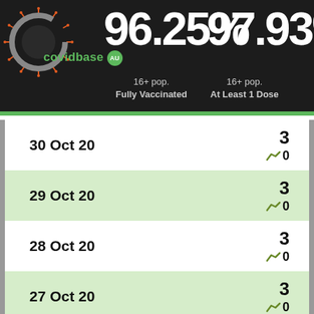[Figure (infographic): CovidBase AU logo with coronavirus graphic on dark background]
96.25% 16+ pop. Fully Vaccinated
97.93% 16+ pop. At Least 1 Dose
| Date | Value |
| --- | --- |
| 30 Oct 20 | 3 ↗0 |
| 29 Oct 20 | 3 ↗0 |
| 28 Oct 20 | 3 ↗0 |
| 27 Oct 20 | 3 ↗0 |